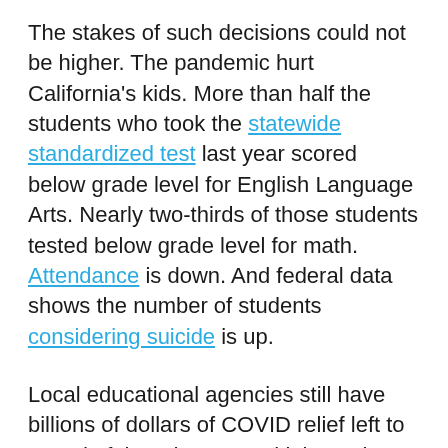The stakes of such decisions could not be higher. The pandemic hurt California's kids. More than half the students who took the statewide standardized test last year scored below grade level for English Language Arts. Nearly two-thirds of those students tested below grade level for math. Attendance is down. And federal data shows the number of students considering suicide is up.
Local educational agencies still have billions of dollars of COVID relief left to spend. If they don't spend it by various deadlines, they may have to return it.
Interactive graphic